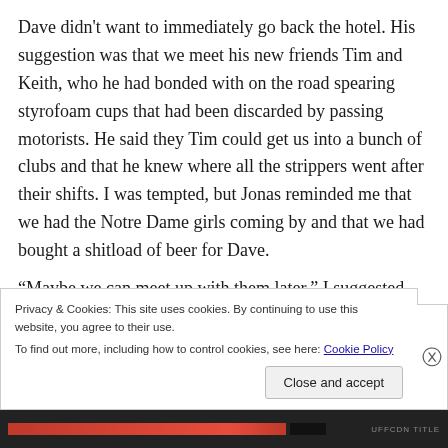Dave didn't want to immediately go back the hotel. His suggestion was that we meet his new friends Tim and Keith, who he had bonded with on the road spearing styrofoam cups that had been discarded by passing motorists. He said they Tim could get us into a bunch of clubs and that he knew where all the strippers went after their shifts. I was tempted, but Jonas reminded me that we had the Notre Dame girls coming by and that we had bought a shitload of beer for Dave.
“Maybe we can meet up with them later,” I suggested.
“OK,” he said. “They gave me the names of some bars we
Privacy & Cookies: This site uses cookies. By continuing to use this website, you agree to their use.
To find out more, including how to control cookies, see here: Cookie Policy
Close and accept